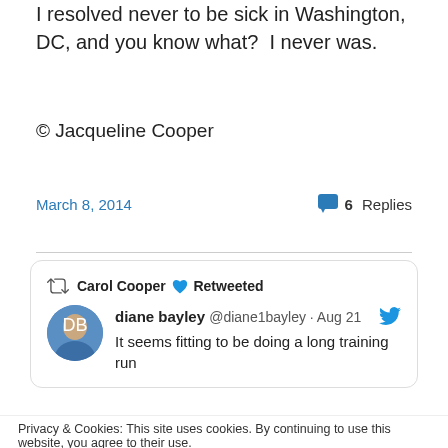I resolved never to be sick in Washington, DC, and you know what?  I never was.
© Jacqueline Cooper
March 8, 2014
6 Replies
[Figure (screenshot): Embedded tweet card: Carol Cooper Retweeted. diane bayley @diane1bayley · Aug 21. It seems fitting to be doing a long training run]
Privacy & Cookies: This site uses cookies. By continuing to use this website, you agree to their use. To find out more, including how to control cookies, see here: Cookie Policy
Close and accept